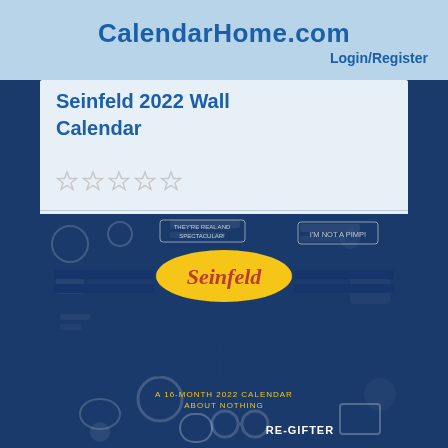CalendarHome.com Login/Register
Seinfeld 2022 Wall Calendar
[Figure (illustration): Five empty star rating icons in a row]
[Figure (photo): Seinfeld 2022 Wall Calendar book cover showing 'Seinfeld - A Show About Nothing - A 16-Month 2022 Calendar About Nothing' with dark blue background and white graphic icons]